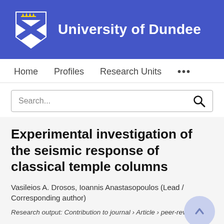University of Dundee
Home   Profiles   Research Units   ...
Search...
Experimental investigation of the seismic response of classical temple columns
Vasileios A. Drosos, Ioannis Anastasopoulos (Lead / Corresponding author)
Research output: Contribution to journal › Article › peer-review